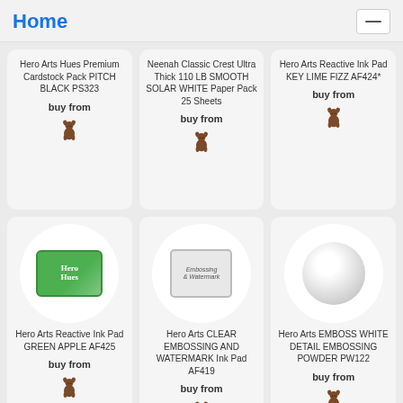Home
Hero Arts Hues Premium Cardstock Pack PITCH BLACK PS323
buy from
Neenah Classic Crest Ultra Thick 110 LB SMOOTH SOLAR WHITE Paper Pack 25 Sheets
buy from
Hero Arts Reactive Ink Pad KEY LIME FIZZ AF424*
buy from
[Figure (photo): Hero Arts green ink pad product image]
Hero Arts Reactive Ink Pad GREEN APPLE AF425
buy from
[Figure (photo): Hero Arts clear embossing and watermark ink pad product image]
Hero Arts CLEAR EMBOSSING AND WATERMARK Ink Pad AF419
buy from
[Figure (photo): Hero Arts emboss white detail embossing powder product image]
Hero Arts EMBOSS WHITE DETAIL EMBOSSING POWDER PW122
buy from